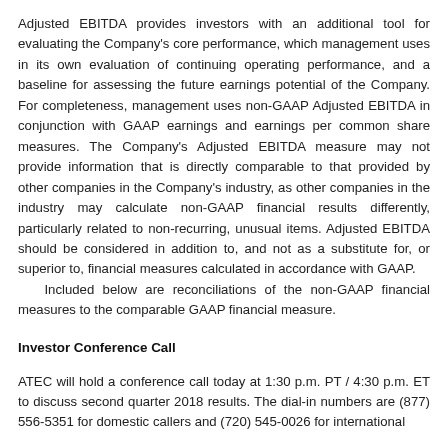Adjusted EBITDA provides investors with an additional tool for evaluating the Company's core performance, which management uses in its own evaluation of continuing operating performance, and a baseline for assessing the future earnings potential of the Company. For completeness, management uses non-GAAP Adjusted EBITDA in conjunction with GAAP earnings and earnings per common share measures. The Company's Adjusted EBITDA measure may not provide information that is directly comparable to that provided by other companies in the Company's industry, as other companies in the industry may calculate non-GAAP financial results differently, particularly related to non-recurring, unusual items. Adjusted EBITDA should be considered in addition to, and not as a substitute for, or superior to, financial measures calculated in accordance with GAAP. Included below are reconciliations of the non-GAAP financial measures to the comparable GAAP financial measure.
Investor Conference Call
ATEC will hold a conference call today at 1:30 p.m. PT / 4:30 p.m. ET to discuss second quarter 2018 results. The dial-in numbers are (877) 556-5351 for domestic callers and (720) 545-0026 for international callers.